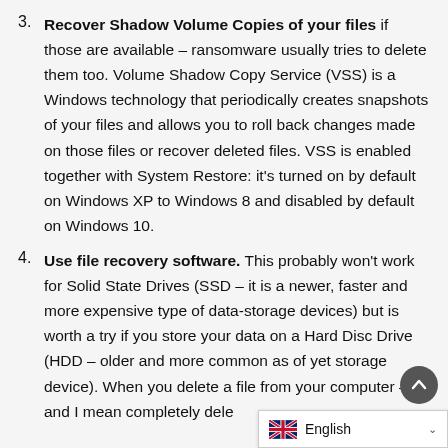3. Recover Shadow Volume Copies of your files if those are available – ransomware usually tries to delete them too. Volume Shadow Copy Service (VSS) is a Windows technology that periodically creates snapshots of your files and allows you to roll back changes made on those files or recover deleted files. VSS is enabled together with System Restore: it's turned on by default on Windows XP to Windows 8 and disabled by default on Windows 10.
4. Use file recovery software. This probably won't work for Solid State Drives (SSD – it is a newer, faster and more expensive type of data-storage devices) but is worth a try if you store your data on a Hard Disc Drive (HDD – older and more common as of yet storage device). When you delete a file from your computer – and I mean completely dele...